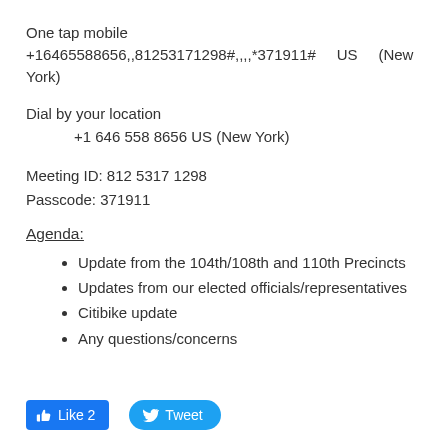One tap mobile +16465588656,,81253171298#,,,,*371911#    US   (New York)
Dial by your location
        +1 646 558 8656 US (New York)
Meeting ID: 812 5317 1298
Passcode: 371911
Agenda:
Update from the 104th/108th and 110th Precincts
Updates from our elected officials/representatives
Citibike update
Any questions/concerns